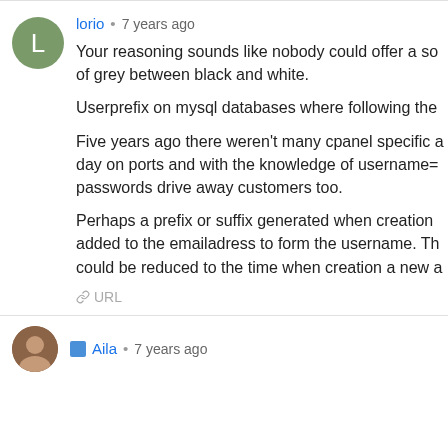URL
lorio • 7 years ago
Your reasoning sounds like nobody could offer a so of grey between black and white.

Userprefix on mysql databases where following the

Five years ago there weren't many cpanel specific a day on ports and with the knowledge of username= passwords drive away customers too.

Perhaps a prefix or suffix generated when creation added to the emailadress to form the username. Th could be reduced to the time when creation a new a
URL